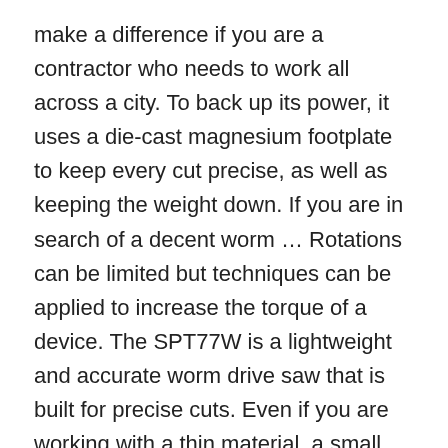make a difference if you are a contractor who needs to work all across a city. To back up its power, it uses a die-cast magnesium footplate to keep every cut precise, as well as keeping the weight down. If you are in search of a decent worm … Rotations can be limited but techniques can be applied to increase the torque of a device. The SPT77W is a lightweight and accurate worm drive saw that is built for precise cuts. Even if you are working with a thin material, a small blade can only cut through so much per minute, which will affect your productivity during long cutting tasks. This is changing, however. The high strength it offers means that it won't be stopped by glue, stick materials, or other layers that might get in the way of your cuts. The heavier a saw is, the more annoying it will be to transport it from place to place, especially if you only have a regular car (or even worse, if you have to carry it by